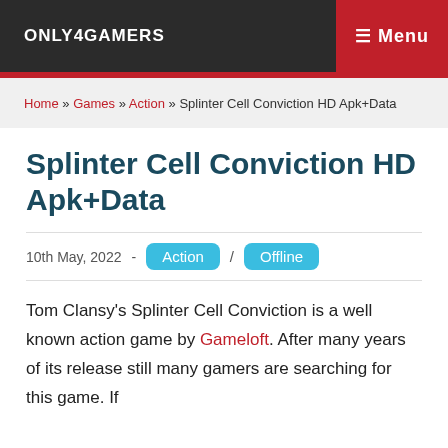ONLY4GAMERS  ☰ Menu
Home » Games » Action » Splinter Cell Conviction HD Apk+Data
Splinter Cell Conviction HD Apk+Data
10th May, 2022  -  Action / Offline
Tom Clansy's Splinter Cell Conviction is a well known action game by Gameloft. After many years of its release still many gamers are searching for this game. If